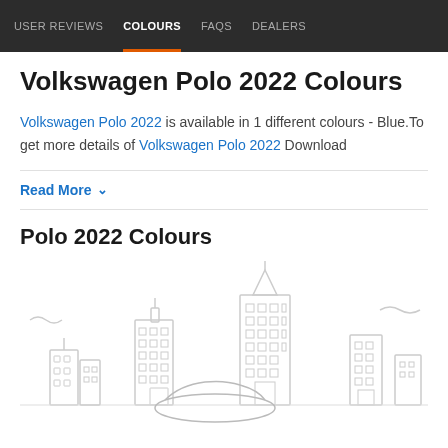USER REVIEWS | COLOURS | FAQs | DEALERS
Volkswagen Polo 2022 Colours
Volkswagen Polo 2022 is available in 1 different colours - Blue.To get more details of Volkswagen Polo 2022 Download
Read More
Polo 2022 Colours
[Figure (illustration): Line art illustration of a city skyline with buildings in light gray outline style, showing the background for a car colour showcase]